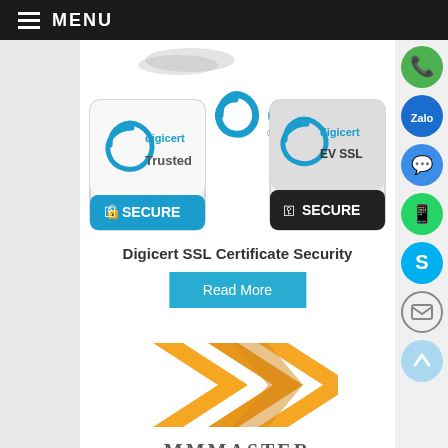MENU
[Figure (logo): DigiCert SSL certificate badges - DigiCert logo, DigiCert Trusted Secure badge, and DigiCert EV SSL Secure badge]
Digicert SSL Certificate Security
Read More
[Figure (logo): Orange X-shaped logo (Xwatch or similar brand)]
[Figure (other): Right sidebar with social media icon buttons: phone (green), Zalo (blue), Messenger (blue), WhatsApp (green), Skype (blue), Email (grey outline), scroll-up (light blue)]